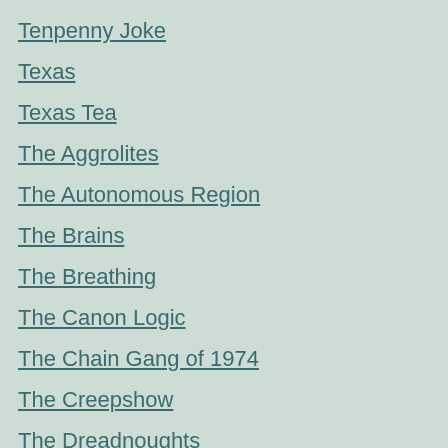Tenpenny Joke
Texas
Texas Tea
The Aggrolites
The Autonomous Region
The Brains
The Breathing
The Canon Logic
The Chain Gang of 1974
The Creepshow
The Dreadnoughts
The Drums
The Exits